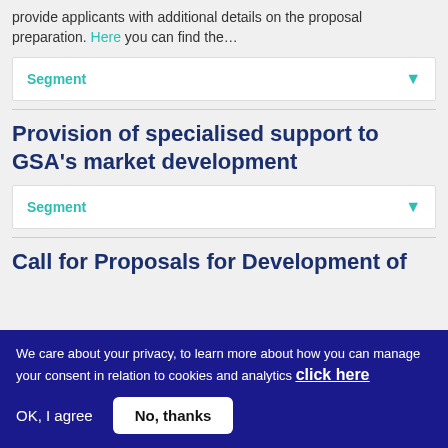provide applicants with additional details on the proposal preparation. Here you can find the…
Segment
Provision of specialised support to GSA's market development
Segment
Call for Proposals for Development of
We care about your privacy, to learn more about how you can manage your consent in relation to cookies and analytics click here
OK, I agree  No, thanks